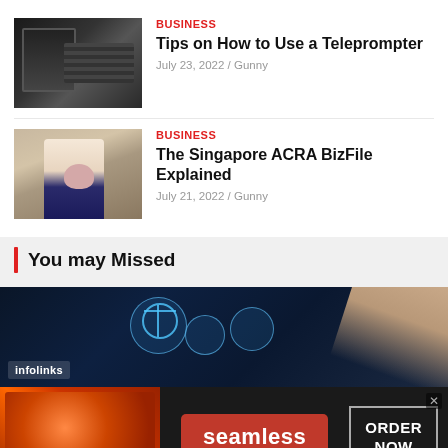BUSINESS
Tips on How to Use a Teleprompter
July 23, 2022 / Gunny
BUSINESS
The Singapore ACRA BizFile Explained
July 21, 2022 / Gunny
You may Missed
[Figure (photo): Infolinks advertisement banner with tech/digital connectivity imagery showing glowing circles and a hand]
[Figure (photo): Seamless food delivery advertisement with pizza image, Seamless red badge, and ORDER NOW button]